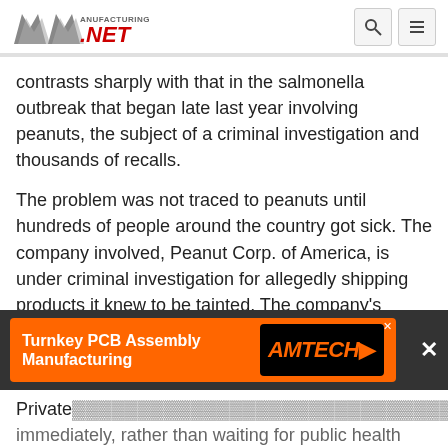Manufacturing.net
contrasts sharply with that in the salmonella outbreak that began late last year involving peanuts, the subject of a criminal investigation and thousands of recalls.
The problem was not traced to peanuts until hundreds of people around the country got sick. The company involved, Peanut Corp. of America, is under criminal investigation for allegedly shipping products it knew to be tainted. The company's owner has refused to answer questions from lawmakers, citing constitutional protections against self-incrimination.
[Figure (other): Advertisement banner: Turnkey PCB Assembly Manufacturing - AMTECH logo with orange background]
Private... immediately, rather than waiting for public health...